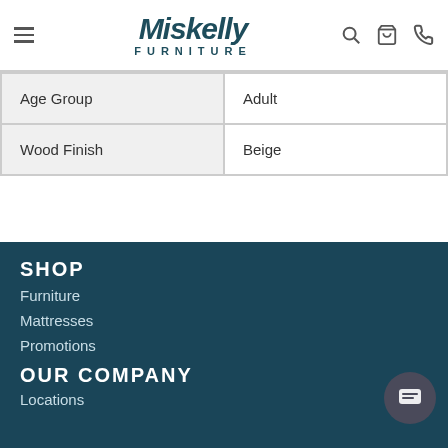Miskelly Furniture
| Age Group | Adult |
| Wood Finish | Beige |
SHOP
Furniture
Mattresses
Promotions
OUR COMPANY
Locations